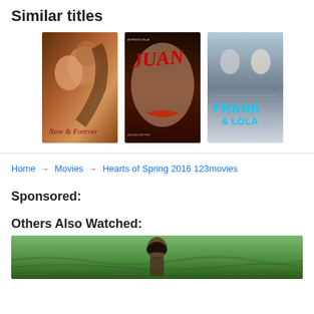Similar titles
[Figure (photo): Three movie posters side by side: Now & Forever, Juan, and Frank & Lola]
Home → Movies → Hearts of Spring 2016 123movies
Sponsored:
Others Also Watched:
[Figure (photo): Bottom portion of a movie scene showing a woman in a field with green grass]